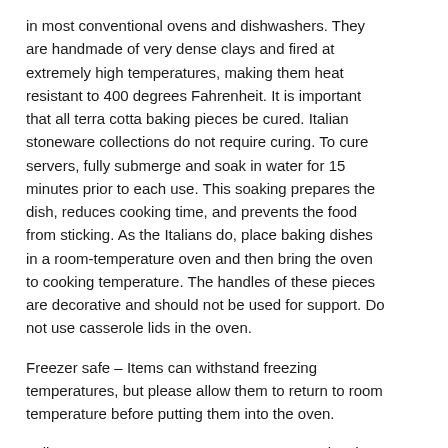in most conventional ovens and dishwashers. They are handmade of very dense clays and fired at extremely high temperatures, making them heat resistant to 400 degrees Fahrenheit. It is important that all terra cotta baking pieces be cured. Italian stoneware collections do not require curing. To cure servers, fully submerge and soak in water for 15 minutes prior to each use. This soaking prepares the dish, reduces cooking time, and prevents the food from sticking. As the Italians do, place baking dishes in a room-temperature oven and then bring the oven to cooking temperature. The handles of these pieces are decorative and should not be used for support. Do not use casserole lids in the oven.
Freezer safe – Items can withstand freezing temperatures, but please allow them to return to room temperature before putting them into the oven.
Italian Stoneware – VIETRI uses stoneware clay that is indigenous to Italy. Stoneware clay is less porous and fired at higher temperatures to make it oven, microwave, freezer and dishwasher safe, and highly resistant to chipping and breaking.